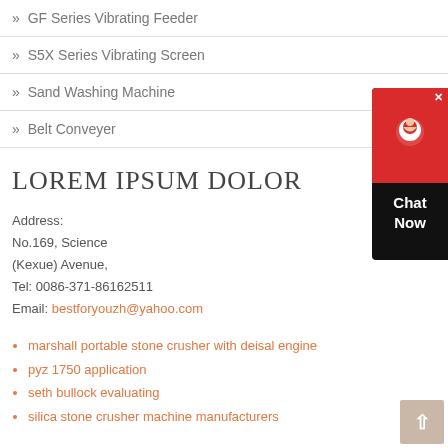» GF Series Vibrating Feeder
» S5X Series Vibrating Screen
» Sand Washing Machine
» Belt Conveyer
LOREM IPSUM DOLOR
Address:
No.169, Science
(Kexue) Avenue,
Tel: 0086-371-86162511
Email: bestforyouzh@yahoo.com
marshall portable stone crusher with deisal engine
pyz 1750 application
seth bullock evaluating
silica stone crusher machine manufacturers